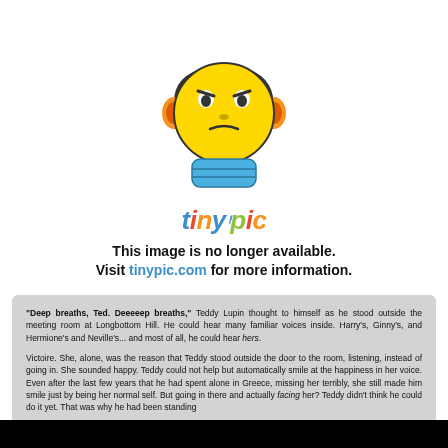[Figure (illustration): TinyPic 'image no longer available' placeholder showing a yellow emoji face with headphones, blue body, and the tinypic logo text below it, followed by text: 'This image is no longer available. Visit tinypic.com for more information.']
"Deep breaths, Ted. Deeeeep breaths," Teddy Lupin thought to himself as he stood outside the meeting room at Longbottom Hill. He could hear many familiar voices inside. Harry's, Ginny's, and Hermione's and Neville's... and most of all, he could hear hers.

Victoire. She, alone, was the reason that Teddy stood outside the door to the room, listening, instead of going in. She sounded happy. Teddy could not help but automatically smile at the happiness in her voice. Even after the last few years that he had spent alone in Greece, missing her terribly, she still made him smile just by being her normal self. But going in there and actually facing her? Teddy didn't think he could do it yet. That was why he had been standing